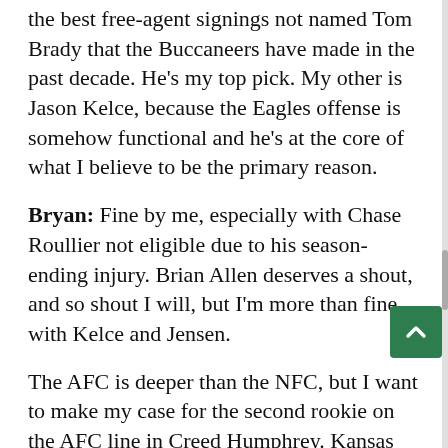the best free-agent signings not named Tom Brady that the Buccaneers have made in the past decade. He's my top pick. My other is Jason Kelce, because the Eagles offense is somehow functional and he's at the core of what I believe to be the primary reason.
Bryan: Fine by me, especially with Chase Roullier not eligible due to his season-ending injury. Brian Allen deserves a shout, and so shout I will, but I'm more than fine with Kelce and Jensen.
The AFC is deeper than the NFC, but I want to make my case for the second rookie on the AFC line in Creed Humphrey. Kansas City has rekafoobled the entire offensive line on the fly this season, and the success of both Humphrey and Trey Smith have been a significant reason why it hasn't been a massive disaster. Humphrey is fourth in blown-block rate, and second in the AFC—as a rookie!